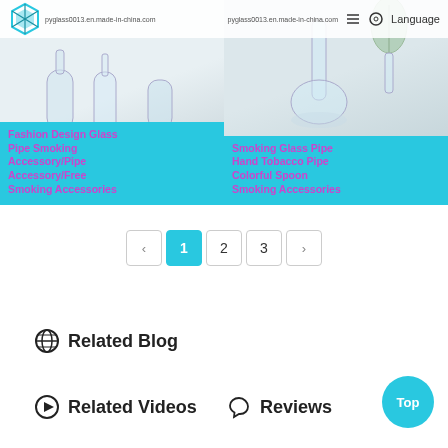pyglass0013.en.made-in-china.com | pyglass0013.en.made-in-china.com | Language
[Figure (photo): Two product listing cards side by side. Left card shows glass laboratory bottles/pipes on white background with cyan title bar. Right card shows a glass smoking pipe/bong on white background with cyan title bar.]
Fashion Design Glass Pipe Smoking Accessory/Pipe Accessory/Free Smoking Accessories
Smoking Glass Pipe Hand Tobacco Pipe Colorful Spoon Smoking Accessories
‹  1  2  3  ›
⊕ Related Blog
▶ Related Videos
🐦 Reviews
Top